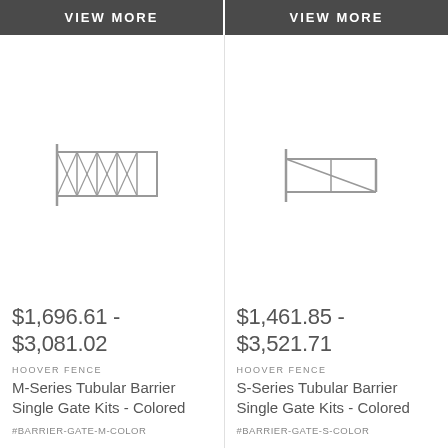VIEW MORE
VIEW MORE
[Figure (illustration): Line drawing icon of M-Series tubular barrier gate with diagonal cross-bracing pattern]
[Figure (illustration): Line drawing icon of S-Series tubular barrier single gate, simpler triangular frame]
$1,696.61 - $3,081.02
HOOVER FENCE
M-Series Tubular Barrier Single Gate Kits - Colored
#BARRIER-GATE-M-COLOR
$1,461.85 - $3,521.71
HOOVER FENCE
S-Series Tubular Barrier Single Gate Kits - Colored
#BARRIER-GATE-S-COLOR